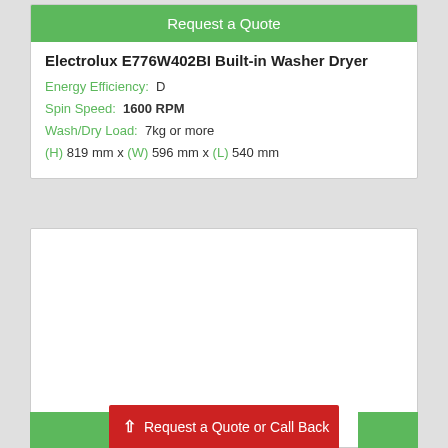Request a Quote
Electrolux E776W402BI Built-in Washer Dryer
Energy Efficiency:  D
Spin Speed:  1600 RPM
Wash/Dry Load:  7kg or more
(H) 819 mm x (W) 596 mm x (L) 540 mm
[Figure (other): White empty card area below product specs]
Request a Quote or Call Back